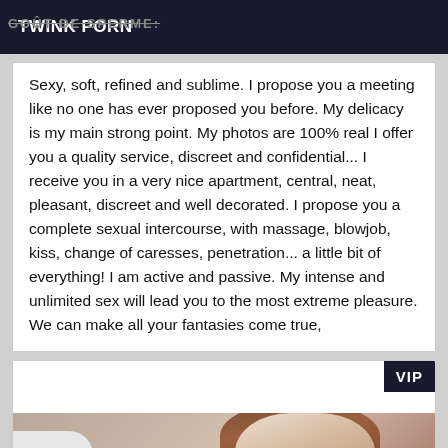TWINK PORN
GOÛT DE SPERME: Sexy, soft, refined and sublime. I propose you a meeting like no one has ever proposed you before. My delicacy is my main strong point. My photos are 100% real I offer you a quality service, discreet and confidential... I receive you in a very nice apartment, central, neat, pleasant, discreet and well decorated. I propose you a complete sexual intercourse, with massage, blowjob, kiss, change of caresses, penetration... a little bit of everything! I am active and passive. My intense and unlimited sex will lead you to the most extreme pleasure. We can make all your fantasies come true,
[Figure (photo): Photo of a person with brown hair, partially visible, with VIP badge in top right corner]